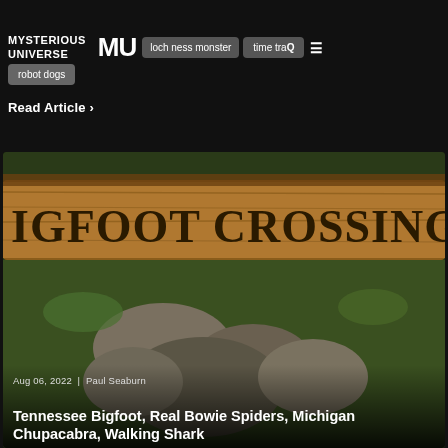MYSTERIOUS UNIVERSE MU
loch ness monster
time travel
robot dogs
Read Article >
[Figure (photo): A wooden sign reading 'IGFOOT CROSSING' (Bigfoot Crossing) with rocks stacked beneath it and green vegetation in the background.]
Aug 06, 2022  |  Paul Seaburn
Tennessee Bigfoot, Real Bowie Spiders, Michigan Chupacabra, Walking Shark